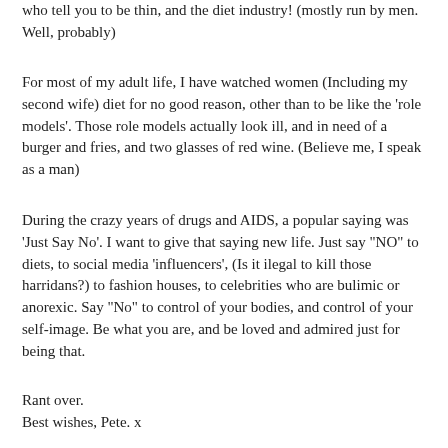who tell you to be thin, and the diet industry! (mostly run by men. Well, probably)
For most of my adult life, I have watched women (Including my second wife) diet for no good reason, other than to be like the ‘role models’. Those role models actually look ill, and in need of a burger and fries, and two glasses of red wine. (Believe me, I speak as a man)
During the crazy years of drugs and AIDS, a popular saying was ‘Just Say No’. I want to give that saying new life. Just say “NO” to diets, to social media ‘influencers’, (Is it ilegal to kill those harridans?) to fashion houses, to celebrities who are bulimic or anorexic. Say “No” to control of your bodies, and control of your self-image. Be what you are, and be loved and admired just for being that.
Rant over.
Best wishes, Pete. x